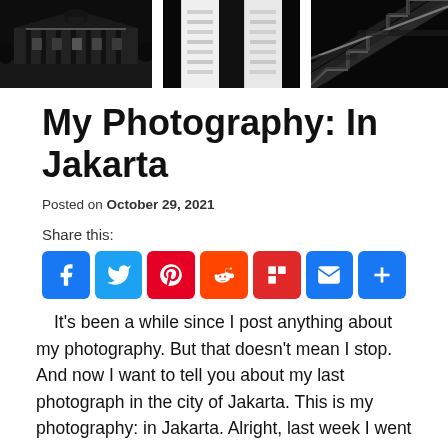[Figure (photo): Black and white photography header banner with three panels: left panel shows a classical colonial building at night, center panel shows abstract architectural shapes with strong contrast, right panel shows diagonal architectural lines in darkness.]
My Photography: In Jakarta
Posted on October 29, 2021
Share this:
[Figure (infographic): Row of social media share buttons: Facebook (blue), Twitter (blue), Pinterest (red), Reddit (orange-red), Flipboard (red), Email (blue), More/Share (blue)]
It's been a while since I post anything about my photography. But that doesn't mean I stop. And now I want to tell you about my last photograph in the city of Jakarta. This is my photography: in Jakarta. Alright, last week I went to Jakarta for